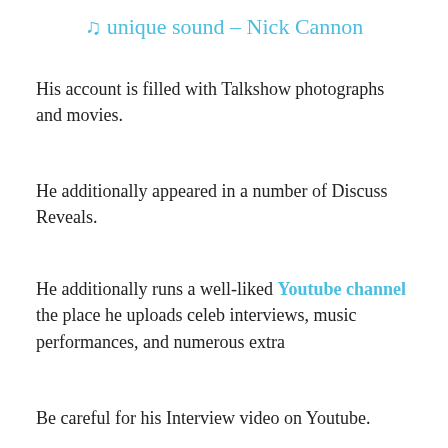♫ unique sound – Nick Cannon
His account is filled with Talkshow photographs and movies.
He additionally appeared in a number of Discuss Reveals.
He additionally runs a well-liked Youtube channel the place he uploads celeb interviews, music performances, and numerous extra
Be careful for his Interview video on Youtube.